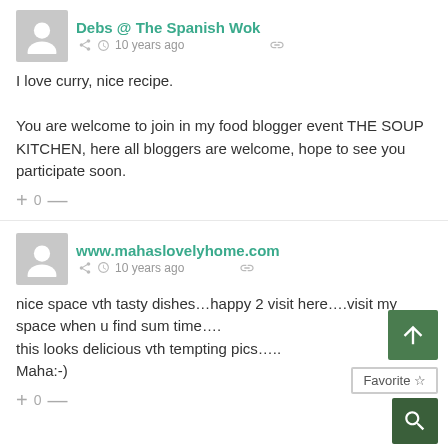Debs @ The Spanish Wok  •  10 years ago
I love curry, nice recipe.

You are welcome to join in my food blogger event THE SOUP KITCHEN, here all bloggers are welcome, hope to see you participate soon.
+ 0 —
www.mahaslovelyhome.com  •  10 years ago
nice space vth tasty dishes…happy 2 visit here….visit my space when u find sum time….
this looks delicious vth tempting pics…..
Maha:-)
+ 0 —